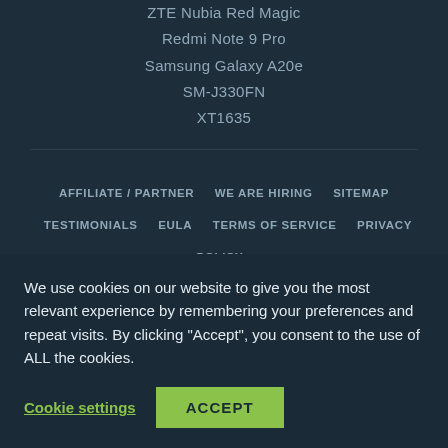ZTE Nubia Red Magic
Redmi Note 9 Pro
Samsung Galaxy A20e
SM-J330FN
XT1635
AFFILIATE / PARTNER   WE ARE HIRING   SITEMAP   TESTIMONIALS   EULA   TERMS OF SERVICE   PRIVACY POLICY   REFUND POLICY
Legal Disclaimer: Root is an advanced technique within Android. This
We use cookies on our website to give you the most relevant experience by remembering your preferences and repeat visits. By clicking "Accept", you consent to the use of ALL the cookies.
Cookie settings   ACCEPT